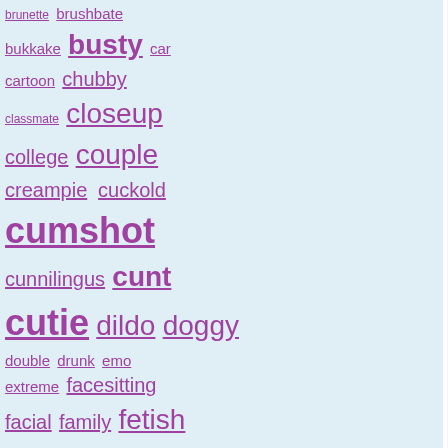brunette brushbate bukakke busty car cartoon chubby classmate closeup college couple creampie cuckold cumshot cunnilingus cunt cutie dildo doggy double drunk emo extreme facesitting facial family fetish fingering firsttime fisting flashing footjob french fuck fun games gay german girlfriend goth group hairy handjob hardcore hidden horny hotel housewife insertions kiss latin lesbian lingerie masturbate mature
[Figure (photo): Video thumbnail showing a young woman in a blue sweater sitting on a bed]
'Watch this horny redhead... Time: 10:10  Date: 2021-07-27 Uploader: RedTube  Report Tags: closeup, cunt, cutie,
[Figure (photo): Video thumbnail showing explicit adult content]
'Super Small 18 Yo Cutie Mia... Time: 16:47  Date: 2022-06-06 Uploader: RedTube  Report Tags: amateur, bigdick, blowjob,
[Figure (photo): Video thumbnail showing a masked person]